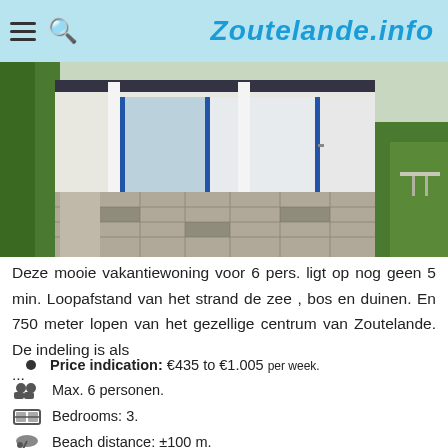Zoutelande.info
[Figure (photo): Exterior photo of a vacation home with a tiled patio, glass sliding doors, white columns, green hedges and a garden.]
Deze mooie vakantiewoning voor 6 pers. ligt op nog geen 5 min. Loopafstand van het strand de zee , bos en duinen. En 750 meter lopen van het gezellige centrum van Zoutelande. De indeling is als ...
Price indication: €435 to €1.005 per week.
Max. 6 personen.
Bedrooms: 3.
Beach distance: ±100 m.